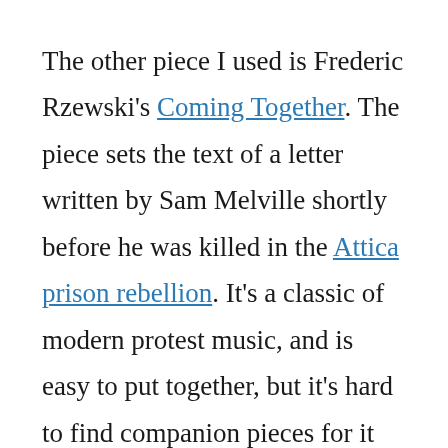The other piece I used is Frederic Rzewski's Coming Together. The piece sets the text of a letter written by Sam Melville shortly before he was killed in the Attica prison rebellion. It's a classic of modern protest music, and is easy to put together, but it's hard to find companion pieces for it because of its use of indeterminate instruments.

So I built Census Americans to be a companion piece, mirroring the use of a bass